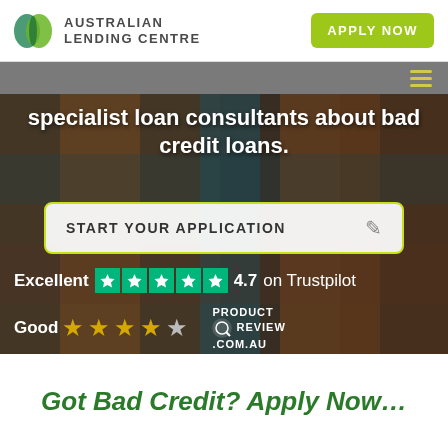[Figure (logo): Australian Lending Centre logo with two overlapping green circles and company name]
APPLY NOW
specialist loan consultants about bad credit loans.
START YOUR APPLICATION
Excellent ★★★★★ 4.7 on Trustpilot
Good ★★★★☆ PRODUCT REVIEW .COM.AU
Got Bad Credit? Apply Now…